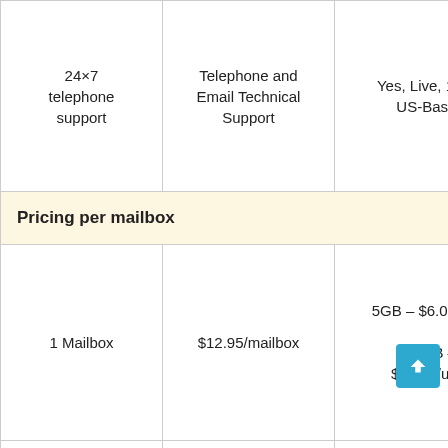|  |  |  |  |
| --- | --- | --- | --- |
| 24×7 telephone support | Telephone and Email Technical Support | Yes, Live, 100% US-Based | YE... |
| Pricing per mailbox |  |  |  |
| 1 Mailbox | $12.95/mailbox | 5GB – $6.00/user
25GB – $11.50/user | Starting $7.... |
| 3+ | $12.95/mailbox | 5GB – $6.00/user
25GB... | Starting... |